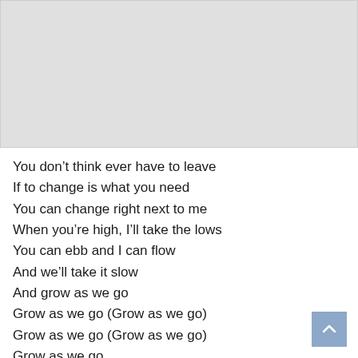[Figure (other): Gray placeholder image box at the top of the page]
You don't think ever have to leave
If to change is what you need
You can change right next to me
When you're high, I'll take the lows
You can ebb and I can flow
And we'll take it slow
And grow as we go
Grow as we go (Grow as we go)
Grow as we go (Grow as we go)
Grow as we go